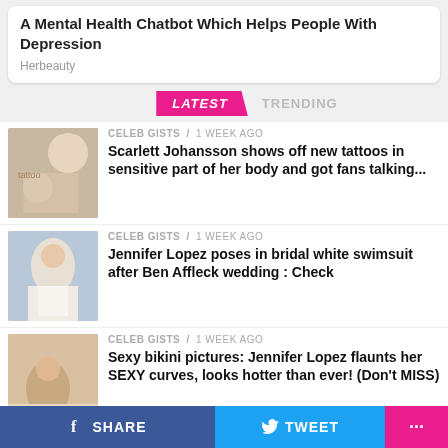A Mental Health Chatbot Which Helps People With Depression
Herbeauty
LATEST   TRENDING
CELEB GISTS / 1 week ago
Scarlett Johansson shows off new tattoos in sensitive part of her body and got fans talking...
[Figure (photo): Photo of Scarlett Johansson showing tattoos]
CELEB GISTS / 1 week ago
Jennifer Lopez poses in bridal white swimsuit after Ben Affleck wedding : Check
[Figure (photo): Photo of Jennifer Lopez in white swimsuit]
CELEB GISTS / 1 week ago
Sexy bikini pictures: Jennifer Lopez flaunts her SEXY curves, looks hotter than ever! (Don't MISS)
[Figure (photo): Photo of Jennifer Lopez in bikini]
SHARE   TWEET   ...